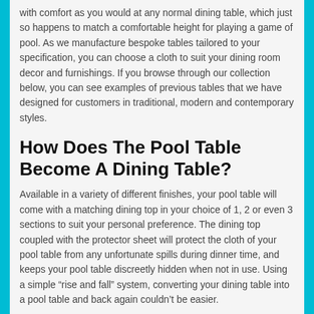with comfort as you would at any normal dining table, which just so happens to match a comfortable height for playing a game of pool. As we manufacture bespoke tables tailored to your specification, you can choose a cloth to suit your dining room decor and furnishings. If you browse through our collection below, you can see examples of previous tables that we have designed for customers in traditional, modern and contemporary styles.
How Does The Pool Table Become A Dining Table?
Available in a variety of different finishes, your pool table will come with a matching dining top in your choice of 1, 2 or even 3 sections to suit your personal preference. The dining top coupled with the protector sheet will protect the cloth of your pool table from any unfortunate spills during dinner time, and keeps your pool table discreetly hidden when not in use. Using a simple “rise and fall” system, converting your dining table into a pool table and back again couldn’t be easier.
What Pool Dining Table Accessories Do I Need To Buy?
When buying a pool dining table from Snooker and Pool Table Company, you will also receive a complimentary set of 2” Aramith pool balls (with a choice between spots and